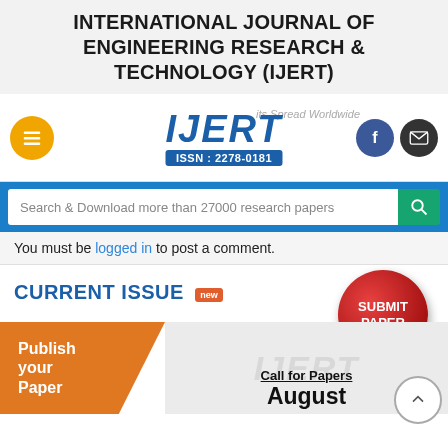INTERNATIONAL JOURNAL OF ENGINEERING RESEARCH & TECHNOLOGY (IJERT)
[Figure (logo): IJERT logo with ISSN: 2278-0181, hamburger menu button (orange), Facebook and email icons (right), and text 'its Spread Worldwide']
[Figure (screenshot): Search bar with placeholder text 'Search & Download more than 27000 research papers' and a teal search button]
You must be logged in to post a comment.
CURRENT ISSUE new
[Figure (other): Red circular gradient button labeled SUBMIT PAPER]
[Figure (other): Orange triangle shape with text 'Publish your Paper', followed by a grey area with IJERT watermark, text 'Call for Papers' and 'August']
[Figure (other): Back to top circular arrow button on bottom right]